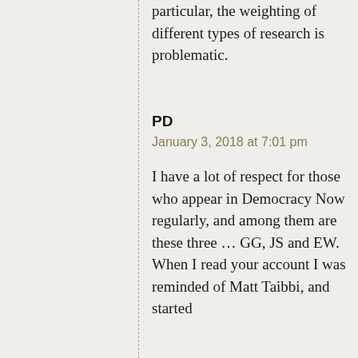particular, the weighting of different types of research is problematic.
PD
January 3, 2018 at 7:01 pm
I have a lot of respect for those who appear in Democracy Now regularly, and among them are these three … GG, JS and EW. When I read your account I was reminded of Matt Taibbi, and started